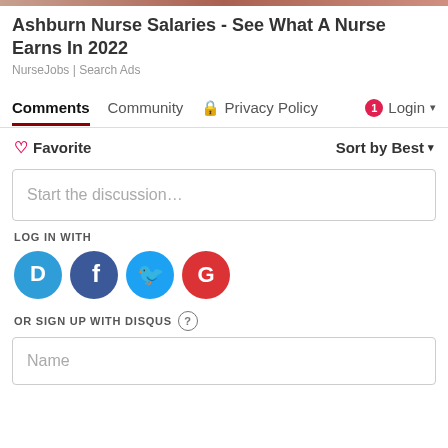Ashburn Nurse Salaries - See What A Nurse Earns In 2022
NurseJobs | Search Ads
Comments | Community | Privacy Policy | Login
Favorite | Sort by Best
Start the discussion...
LOG IN WITH
[Figure (other): Social login icons: Disqus (blue D), Facebook (dark blue f), Twitter (light blue bird), Google (red G)]
OR SIGN UP WITH DISQUS
Name